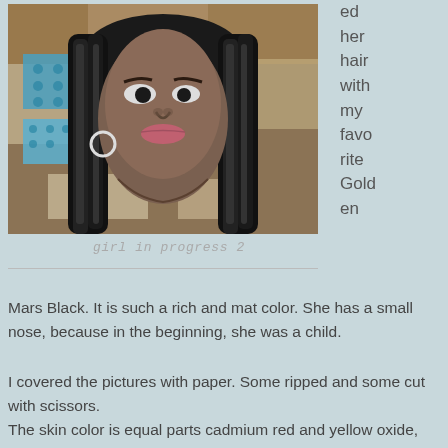[Figure (photo): Mixed media artwork collage showing a woman's face with braided black hair, painted in muted tones with blue patterned fabric and newspaper collage elements in the background.]
girl in progress 2
ed her hair with my favorite Golden
Mars Black. It is such a rich and mat color. She has a small nose, because in the beginning, she was a child.
I covered the pictures with paper. Some ripped and some cut with scissors.
The skin color is equal parts cadmium red and yellow oxide, with a little blue to make it a richer brown.